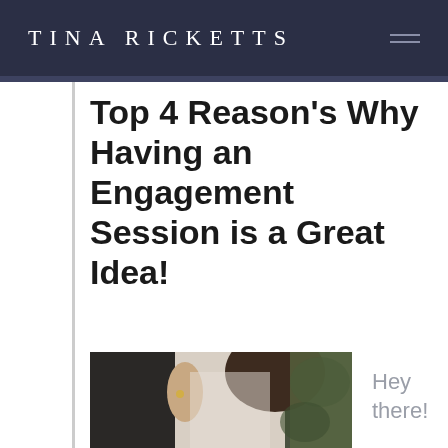TINA RICKETTS
Top 4 Reason's Why Having an Engagement Session is a Great Idea!
[Figure (photo): Couple embracing outdoors — woman in white lace long-sleeve dress with engagement ring visible, man in dark suit, green foliage background]
Hey there!